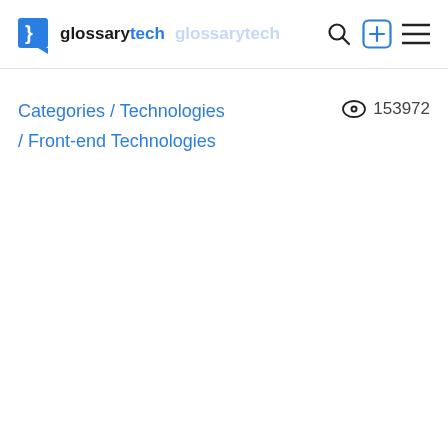glossarytech glossarytech
Categories / Technologies / Front-end Technologies
153972